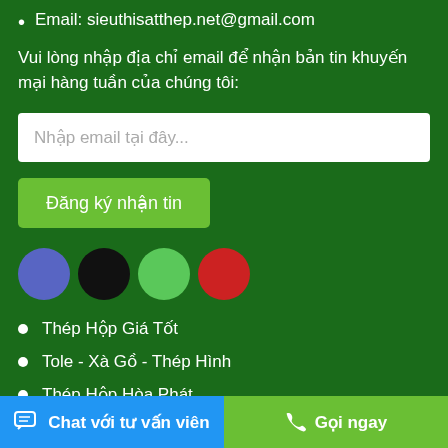Email: sieuthisatthep.net@gmail.com
Vui lòng nhập địa chỉ email để nhận bản tin khuyến mại hàng tuần của chúng tôi:
[Figure (other): Email input field with placeholder text 'Nhập email tại đây...']
[Figure (other): Green subscribe button labeled 'Đăng ký nhận tin']
[Figure (other): Four social media icons: blue circle (Facebook), black circle, green circle, red circle]
Thép Hộp Giá Tốt
Tole - Xà Gồ - Thép Hình
Thép Hộp Hòa Phát
Ống kẽm Nóng Hòa Phát
Chat với tư vấn viên   Gọi ngay